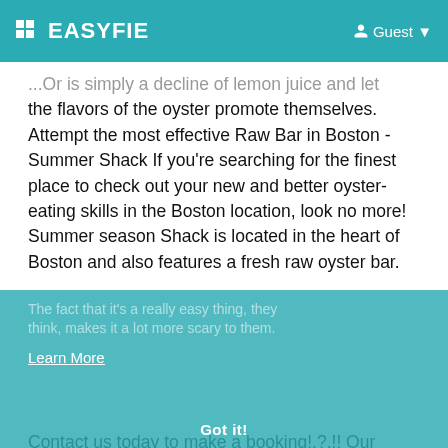EASYFIE  Guest
...Or is simply a decline of lemon juice and let the flavors of the oyster promote themselves. Attempt the most effective Raw Bar in Boston - Summer Shack If you're searching for the finest place to check out your new and better oyster-eating skills in the Boston location, look no more! Summer season Shack is located in the heart of Boston and also features a fresh raw oyster bar.
Contact us today to make a booking!.?.!! Our experienced group can recommend the very best alcoholic drinks and also a glass of wine pairings to take your experience to the following degree.
Learn More
A plate of fresh shucked oysters on the half covering is a briny and also attractive thing." Philly has a really old and rich oyster history," claimed Sam Mink, proprietor of the prominent